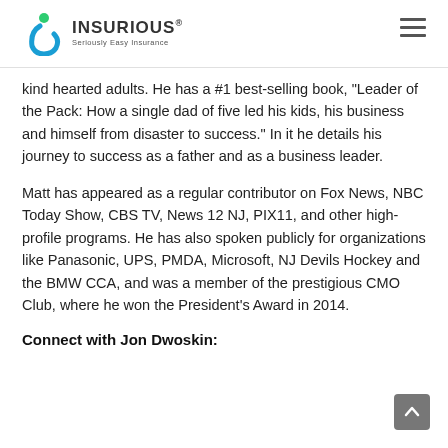INSURIOUS® Seriously Easy Insurance
kind hearted adults. He has a #1 best-selling book, “Leader of the Pack: How a single dad of five led his kids, his business and himself from disaster to success.” In it he details his journey to success as a father and as a business leader.
Matt has appeared as a regular contributor on Fox News, NBC Today Show, CBS TV, News 12 NJ, PIX11, and other high-profile programs. He has also spoken publicly for organizations like Panasonic, UPS, PMDA, Microsoft, NJ Devils Hockey and the BMW CCA, and was a member of the prestigious CMO Club, where he won the President’s Award in 2014.
Connect with Jon Dwoskin: